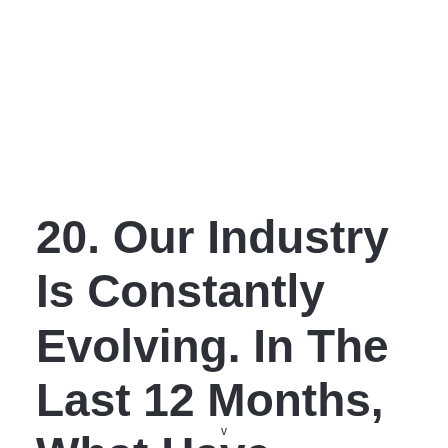20. Our Industry Is Constantly Evolving. In The Last 12 Months, What Have
v